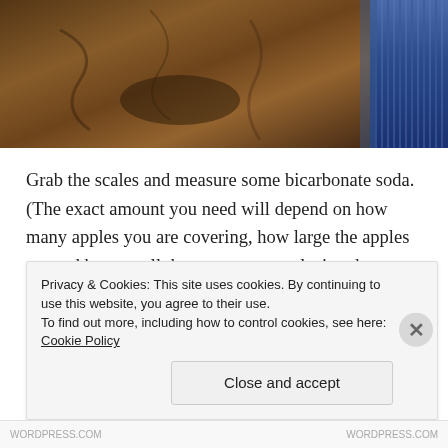[Figure (photo): Photo of a wooden floor surface with a blue knitted/ribbed fabric object on the right side, partial view from above]
Grab the scales and measure some bicarbonate soda. (The exact amount you need will depend on how many apples you are covering, how large the apples are and how small the cups you are placing them are.) we used 140g of bicarbonate soda (as it was an easy number to multiply) and this covered 3 crabapples in coffee shot
Privacy & Cookies: This site uses cookies. By continuing to use this website, you agree to their use.
To find out more, including how to control cookies, see here: Cookie Policy
Close and accept